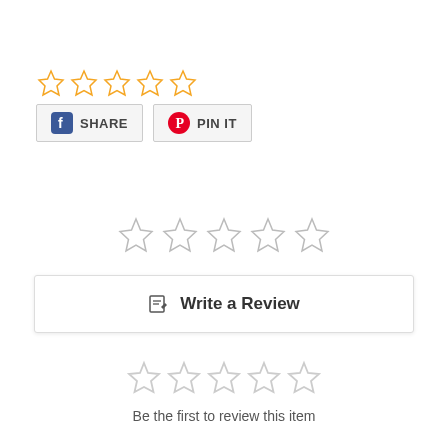[Figure (other): Five yellow outline stars (rating widget, 0 of 5 stars selected)]
[Figure (other): Facebook Share button and Pinterest Pin It button]
[Figure (other): Five gray outline stars (rating widget, 0 of 5 stars selected)]
[Figure (other): Write a Review button with edit icon]
[Figure (other): Five light gray outline stars (larger, 0 of 5 selected)]
Be the first to review this item